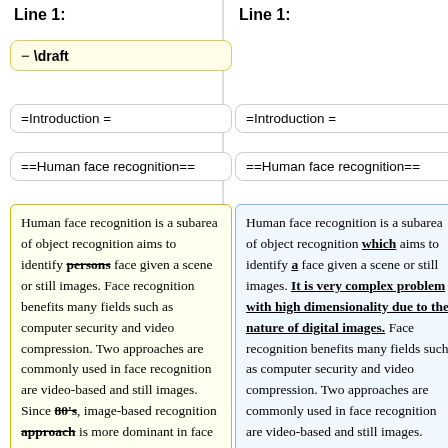Line 1:
Line 1:
\draft
=Introduction =
=Introduction =
==Human face recognition==
==Human face recognition==
Human face recognition is a subarea of object recognition aims to identify persons face given a scene or still images. Face recognition benefits many fields such as computer security and video compression. Two approaches are commonly used in face recognition are video-based and still images. Since 80's, image-based recognition approach is more dominant in face recognition in comparison with the video-based approach
Human face recognition is a subarea of object recognition which aims to identify a face given a scene or still images. It is very complex problem with high dimensionality due to the nature of digital images. Face recognition benefits many fields such as computer security and video compression. Two approaches are commonly used in face recognition are video-based and still images. Since the 80's, image-based recognition is